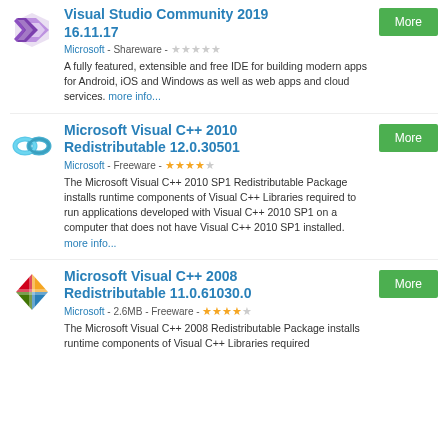Visual Studio Community 2019 16.11.17 - Microsoft - Shareware - A fully featured, extensible and free IDE for building modern apps for Android, iOS and Windows as well as web apps and cloud services. more info...
Microsoft Visual C++ 2010 Redistributable 12.0.30501 - Microsoft - Freeware - The Microsoft Visual C++ 2010 SP1 Redistributable Package installs runtime components of Visual C++ Libraries required to run applications developed with Visual C++ 2010 SP1 on a computer that does not have Visual C++ 2010 SP1 installed. more info...
Microsoft Visual C++ 2008 Redistributable 11.0.61030.0 - Microsoft - 2.6MB - Freeware - The Microsoft Visual C++ 2008 Redistributable Package installs runtime components of Visual C++ Libraries required